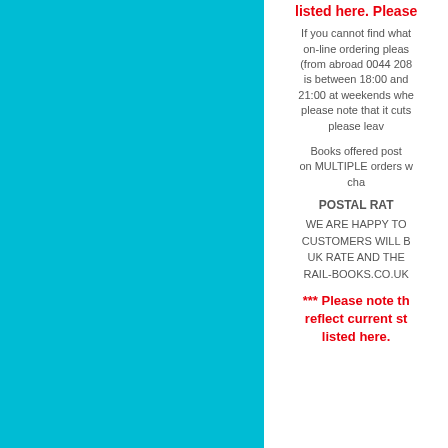[Figure (other): Solid cyan/turquoise background panel occupying the left ~59% of the page]
listed here. Please
If you cannot find what on-line ordering pleas (from abroad 0044 208 is between 18:00 and 21:00 at weekends whe please note that it cuts please leav
Books offered post on MULTIPLE orders w cha
POSTAL RAT
WE ARE HAPPY TO CUSTOMERS WILL B UK RATE AND THE RAIL-BOOKS.CO.UK
*** Please note th reflect current st listed here.